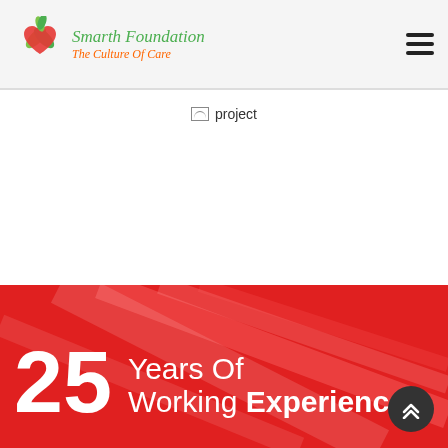Smarth Foundation — The Culture Of Care
[Figure (illustration): Broken image placeholder labeled 'project']
[Figure (illustration): Red background section with diagonal light streaks. Large white '25' numeral with 'Years Of Working Experience' text and a dark circular back-to-top button with chevron arrows.]
25 Years Of Working Experience